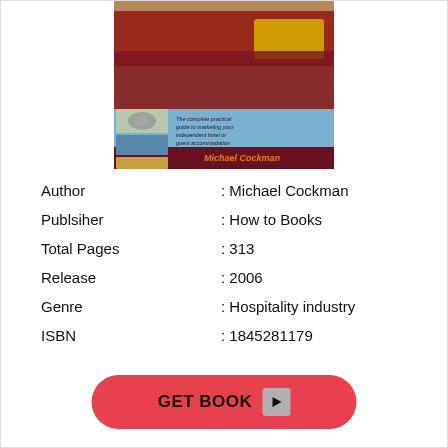[Figure (photo): Book cover of a hotel marketing guide by Michael Cockman, showing a hotel room with bed, and smaller inset images with text 'The complete practical guide to marketing your independent hotel or guest accommodation'. Author name 'Michael Cockman' appears at bottom in orange text on dark red background.]
| Author | : Michael Cockman |
| Publsiher | : How to Books |
| Total Pages | : 313 |
| Release | : 2006 |
| Genre | : Hospitality industry |
| ISBN | : 1845281179 |